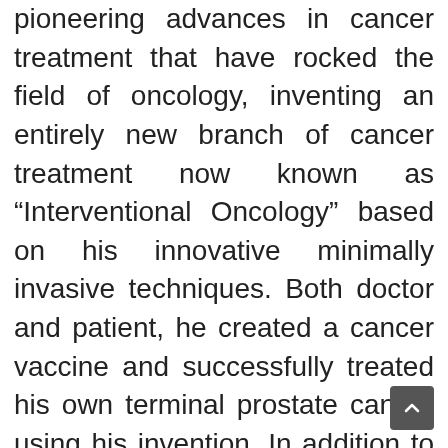pioneering advances in cancer treatment that have rocked the field of oncology, inventing an entirely new branch of cancer treatment now known as “Interventional Oncology” based on his innovative minimally invasive techniques. Both doctor and patient, he created a cancer vaccine and successfully treated his own terminal prostate cancer using his invention. In addition to his medical practice, Dr. Onik is an Adjunct Professor of Mechanical Engineering at Carnegie Mellon University, working closely with his colleagues to develop the next generation of cancer fighting technologies. His latest work, using immunotherapy to treat metastatic cancer, offers...